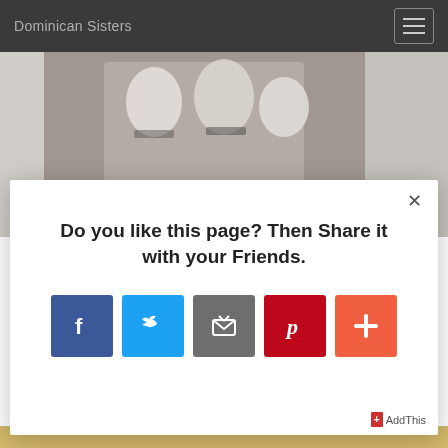Dominican Sisters
[Figure (screenshot): Website banner with two Dominican Sisters in white habits, overlaid text 'Called to be a Dominican Sister?' with a yellow 'Click!' text below]
Do you like this page? Then Share it with your Friends.
[Figure (infographic): Social sharing buttons: Facebook (blue), Twitter (light blue), Email (grey), Pinterest (red), AddThis plus (orange-red)]